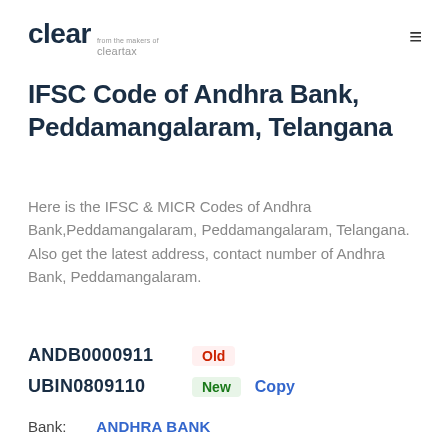clear from the makers of cleartax
IFSC Code of Andhra Bank, Peddamangalaram, Telangana
Here is the IFSC & MICR Codes of Andhra Bank,Peddamangalaram, Peddamangalaram, Telangana. Also get the latest address, contact number of Andhra Bank, Peddamangalaram.
ANDB0000911  Old
UBIN0809110  New  Copy
Bank:  ANDHRA BANK